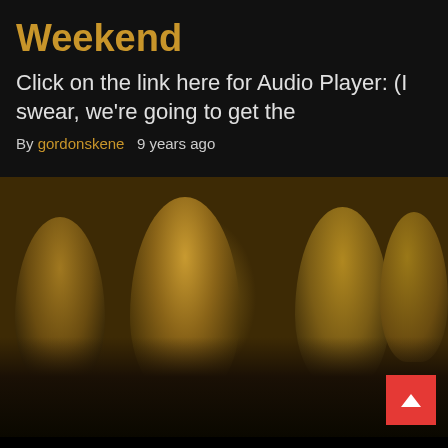Weekend
Click on the link here for Audio Player: (I swear, we're going to get the
By gordonskene   9 years ago
[Figure (photo): Sepia-toned photo of four young men, likely a music band, staring at the camera. Brown and amber tones throughout.]